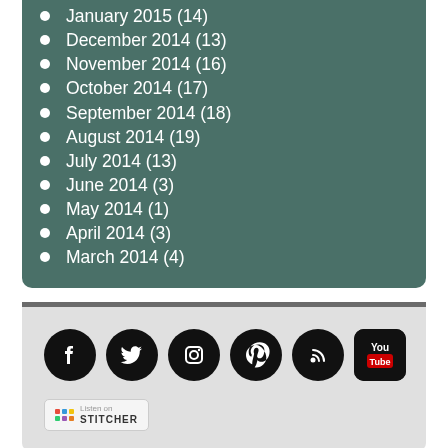January 2015 (14)
December 2014 (13)
November 2014 (16)
October 2014 (17)
September 2014 (18)
August 2014 (19)
July 2014 (13)
June 2014 (3)
May 2014 (1)
April 2014 (3)
March 2014 (4)
[Figure (illustration): Social media icons: Facebook, Twitter, Instagram, Pinterest, RSS, YouTube — black circles with white logos, plus a Stitcher badge]